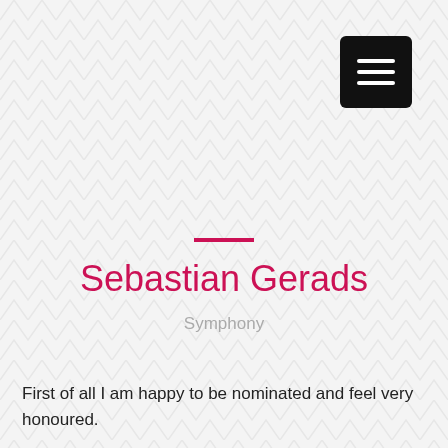[Figure (other): Chevron/zigzag pattern background covering the full page in light grey on white/light grey]
[Figure (other): Black rounded rectangle hamburger menu button with three white horizontal lines, top-right corner]
Sebastian Gerads
Symphony
First of all I am happy to be nominated and feel very honoured.